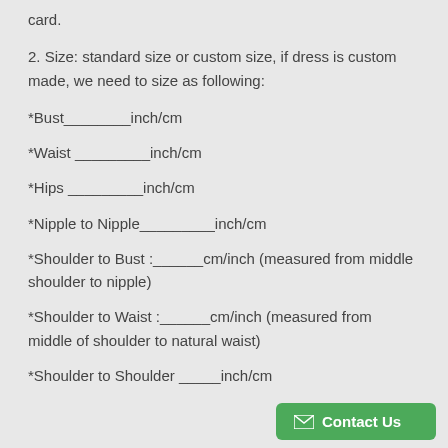card.
2. Size: standard size or custom size, if dress is custom made, we need to size as following:
*Bust________inch/cm
*Waist _________inch/cm
*Hips _________inch/cm
*Nipple to Nipple_________inch/cm
*Shoulder to Bust :______cm/inch (measured from middle shoulder to nipple)
*Shoulder to Waist :______cm/inch (measured from middle of shoulder to natural waist)
*Shoulder to Shoulder _____inch/cm